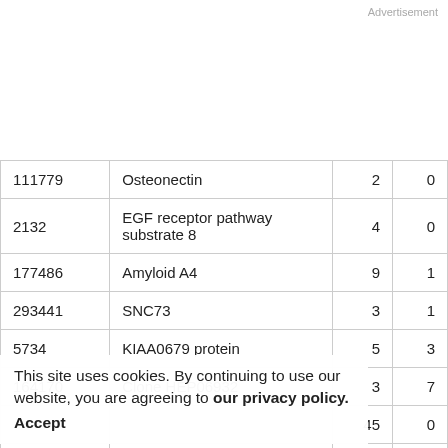Advertisement
| ID | Name | Col3 | Col4 |
| --- | --- | --- | --- |
| 111779 | Osteonectin | 2 | 0 |
| 2132 | EGF receptor pathway substrate 8 | 4 | 0 |
| 177486 | Amyloid A4 | 9 | 1 |
| 293441 | SNC73 | 3 | 1 |
| 5734 | KIAA0679 protein | 5 | 3 |
| 164170 | Clone HEP06932 | 3 | 7 |
|  |  | 45 | 0 |
| 160293 | Ribosomal protein L32 | 273 | 3 |
| 200632 | Immunoglobulin ... |  |  |
This site uses cookies. By continuing to use our website, you are agreeing to our privacy policy. Accept